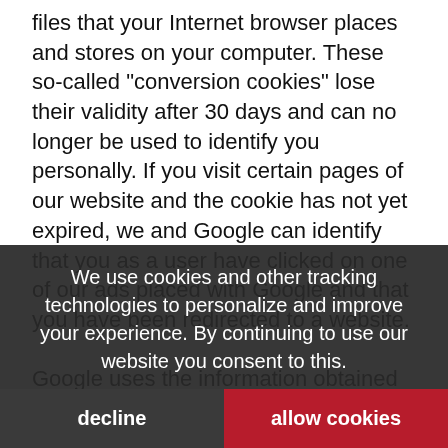files that your Internet browser places and stores on your computer. These so-called "conversion cookies" lose their validity after 30 days and can no longer be used to identify you personally. If you visit certain pages of our website and the cookie has not yet expired, we and Google can identify that you as a user have clicked on one of our ads placed with Google and that you have been redirected to a website.

Google uses the information obtained via the "conversion cookies" to prepare visit statistics for our website. Using the statistics, we learn the total number of users that have clicked on our ad, and, in addition, which pages of our website have subsequently been accessed by the respective user. However, we or other companies that advertise via "Google AdWords" do not obtain any information whatsoever by which users can be personally identified.
We use cookies and other tracking technologies to personalize and improve your experience. By continuing to use our website you consent to this.
decline
allow cookies